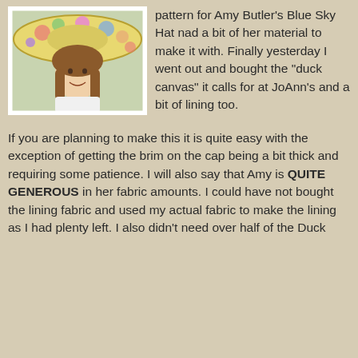[Figure (photo): A woman wearing a large decorative sun hat with a floral pattern, smiling, seated near a window.]
pattern for Amy Butler's Blue Sky Hat nad a bit of her material to make it with. Finally yesterday I went out and bought the "duck canvas" it calls for at JoAnn's and a bit of lining too.
If you are planning to make this it is quite easy with the exception of getting the brim on the cap being a bit thick and requiring some patience. I will also say that Amy is QUITE GENEROUS in her fabric amounts. I could have not bought the lining fabric and used my actual fabric to make the lining as I had plenty left. I also didn't need over half of the Duck